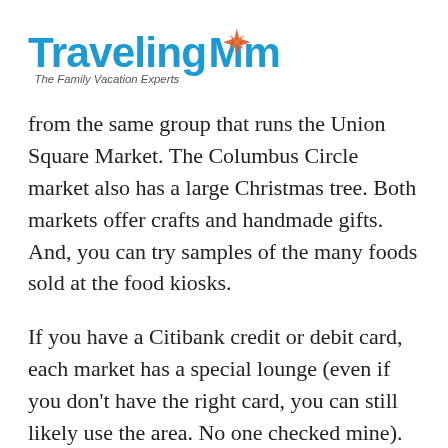TravelingMom — The Family Vacation Experts
from the same group that runs the Union Square Market. The Columbus Circle market also has a large Christmas tree. Both markets offer crafts and handmade gifts. And, you can try samples of the many foods sold at the food kiosks.
If you have a Citibank credit or debit card, each market has a special lounge (even if you don't have the right card, you can still likely use the area. No one checked mine). The lounges offer free hot drinks, phone charging and free photo booths. There are also heat lamps so you can warm up.
The indoor Chelsea Market is a cool place to visit anytime of year, but it truly is a wonder to see in the wintertime. Light displays enhance historic